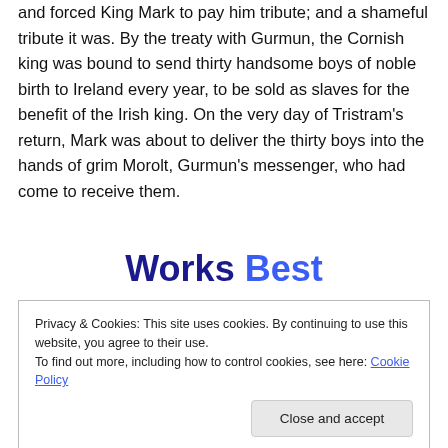and forced King Mark to pay him tribute; and a shameful tribute it was. By the treaty with Gurmun, the Cornish king was bound to send thirty handsome boys of noble birth to Ireland every year, to be sold as slaves for the benefit of the Irish king. On the very day of Tristram's return, Mark was about to deliver the thirty boys into the hands of grim Morolt, Gurmun's messenger, who had come to receive them.
Works Best
Privacy & Cookies: This site uses cookies. By continuing to use this website, you agree to their use. To find out more, including how to control cookies, see here: Cookie Policy